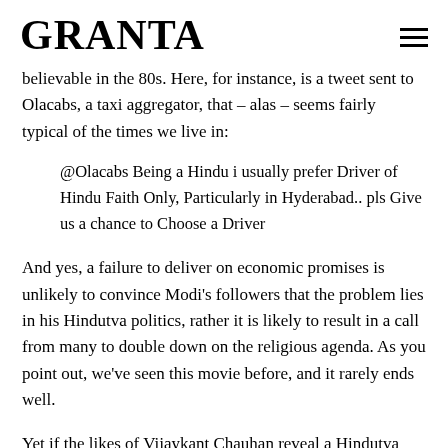GRANTA
believable in the 80s. Here, for instance, is a tweet sent to Olacabs, a taxi aggregator, that – alas – seems fairly typical of the times we live in:
@Olacabs Being a Hindu i usually prefer Driver of Hindu Faith Only, Particularly in Hyderabad.. pls Give us a chance to Choose a Driver
And yes, a failure to deliver on economic promises is unlikely to convince Modi's followers that the problem lies in his Hindutva politics, rather it is likely to result in a call from many to double down on the religious agenda. As you point out, we've seen this movie before, and it rarely ends well.
Yet if the likes of Vijaykant Chauhan reveal a Hindutva driven by persecution and encirclement, there is another side